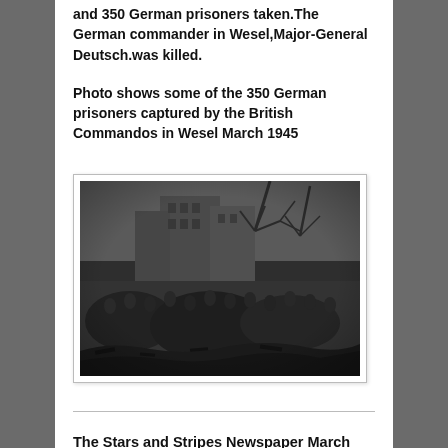and 350 German prisoners taken.The German commander in Wesel,Major-General Deutsch.was killed.
Photo shows some of the 350 German prisoners captured by the British Commandos in Wesel March 1945
[Figure (photo): Black and white historical photograph showing a large group of German prisoners of war walking through a rubble-strewn street in Wesel, with damaged buildings and bare trees in the background, March 1945.]
The Stars and Stripes Newspaper March 1945